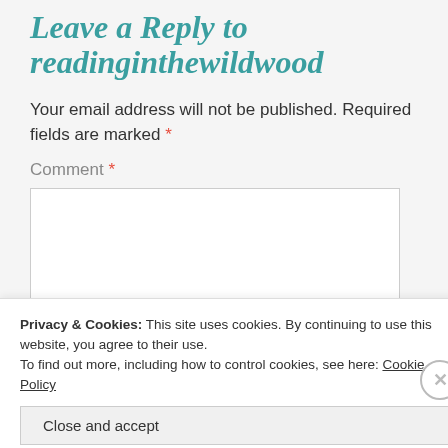Leave a Reply to readinginthewildwood
Your email address will not be published. Required fields are marked *
Comment *
[Figure (screenshot): Empty comment text area input box]
Privacy & Cookies: This site uses cookies. By continuing to use this website, you agree to their use. To find out more, including how to control cookies, see here: Cookie Policy
Close and accept